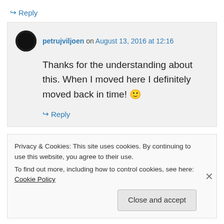↪ Reply
petrujviljoen on August 13, 2016 at 12:16
Thanks for the understanding about this. When I moved here I definitely moved back in time! 🙂
↪ Reply
Privacy & Cookies: This site uses cookies. By continuing to use this website, you agree to their use.
To find out more, including how to control cookies, see here: Cookie Policy
Close and accept